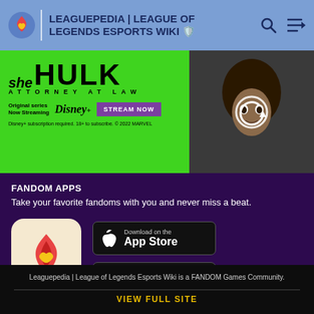LEAGUEPEDIA | LEAGUE OF LEGENDS ESPORTS WIKI
[Figure (screenshot): She-Hulk Attorney at Law Disney+ advertisement banner with green background and actress photo on the right]
FANDOM APPS
Take your favorite fandoms with you and never miss a beat.
[Figure (logo): Fandom app icon - flame/heart logo on cream background]
[Figure (screenshot): Download on the App Store button]
[Figure (screenshot): Get it on Google Play button]
Leaguepedia | League of Legends Esports Wiki is a FANDOM Games Community.
VIEW FULL SITE